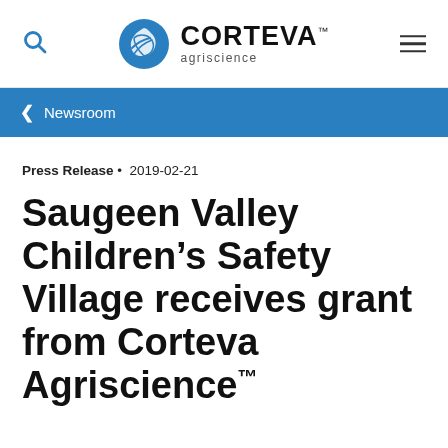Corteva Agriscience — Navigation bar with search icon and menu icon
< Newsroom
Press Release • 2019-02-21
Saugeen Valley Children's Safety Village receives grant from Corteva Agriscience™